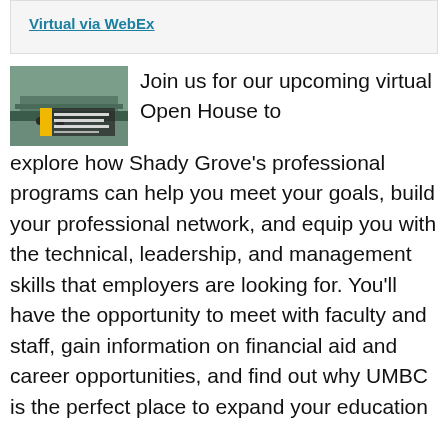Virtual via WebEx
[Figure (photo): Photo of Shady Grove campus building with text overlay reading 'Professional Programs Virtual Open House']
Join us for our upcoming virtual Open House to explore how Shady Grove's professional programs can help you meet your goals, build your professional network, and equip you with the technical, leadership, and management skills that employers are looking for. You'll have the opportunity to meet with faculty and staff, gain information on financial aid and career opportunities, and find out why UMBC is the perfect place to expand your education